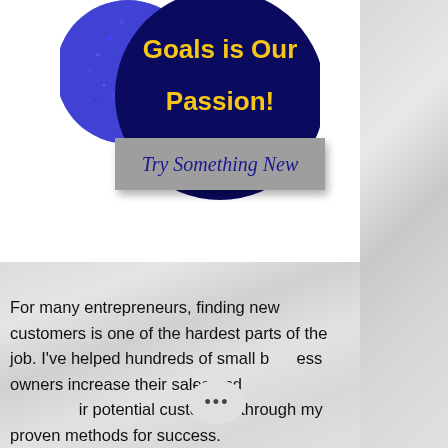[Figure (illustration): Dark navy blue circle with blue speckled overlay on left side, containing bold yellow text 'Goals is Our Passion!' centered on the circle. Displayed on a white background.]
Try Something New
For many entrepreneurs, finding new customers is one of the hardest parts of the job. I've helped hundreds of small business owners increase their sales and reach their potential customers through my proven methods for success.